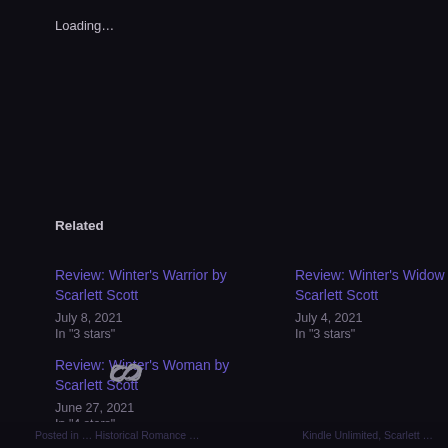Loading...
Related
Review: Winter's Warrior by Scarlett Scott
July 8, 2021
In "3 stars"
Review: Winter's Widow by Scarlett Scott
July 4, 2021
In "3 stars"
Review: Winter's Woman by Scarlett Scott
June 27, 2021
In "4 stars"
[Figure (illustration): Chain link icon in grey on dark background]
Posted in ... Historical Romance ... Kindle Unlimited, Scarlett ...